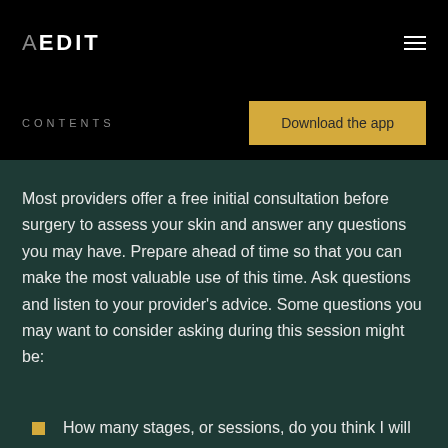AEDIT
CONTENTS
Download the app
Most providers offer a free initial consultation before surgery to assess your skin and answer any questions you may have. Prepare ahead of time so that you can make the most valuable use of this time. Ask questions and listen to your provider's advice. Some questions you may want to consider asking during this session might be:
How many stages, or sessions, do you think I will